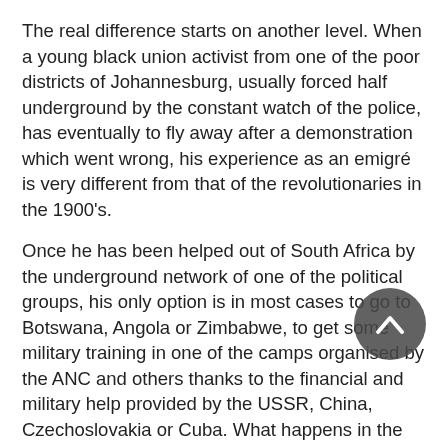The real difference starts on another level. When a young black union activist from one of the poor districts of Johannesburg, usually forced half underground by the constant watch of the police, has eventually to fly away after a demonstration which went wrong, his experience as an emigré is very different from that of the revolutionaries in the 1900's.
Once he has been helped out of South Africa by the underground network of one of the political groups, his only option is in most cases to go to Botswana, Angola or Zimbabwe, to get some military training in one of the camps organised by the ANC and others thanks to the financial and military help provided by the USSR, China, Czechoslovakia or Cuba. What happens in the Middle East to Palestinian militants and in Central America is basically the same.
This sort of training in nationalist military canps is not likely to make internationalism the driving force of the lives of all these youth, even though they do come from all over the world. But such is not the aim of those who train them.